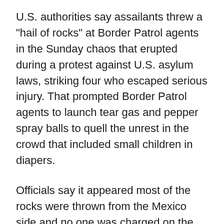U.S. authorities say assailants threw a "hail of rocks" at Border Patrol agents in the Sunday chaos that erupted during a protest against U.S. asylum laws, striking four who escaped serious injury. That prompted Border Patrol agents to launch tear gas and pepper spray balls to quell the unrest in the crowd that included small children in diapers.
Officials say it appeared most of the rocks were thrown from the Mexico side and no one was charged on the U.S. side with assaulting the agents.
Those who were arrested were accused of illegally entering the U.S.; 27 were men and 15 women and children. Charges were not filed because the administration generally doesn't separate families and because Customs and Border Protection didn't collect